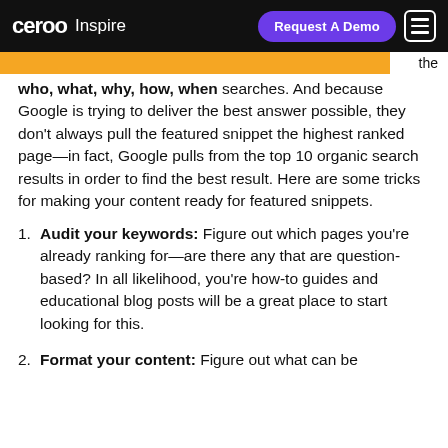ceroo Inspire | Request A Demo
the who, what, why, how, when searches. And because Google is trying to deliver the best answer possible, they don't always pull the featured snippet the highest ranked page—in fact, Google pulls from the top 10 organic search results in order to find the best result. Here are some tricks for making your content ready for featured snippets.
Audit your keywords: Figure out which pages you're already ranking for—are there any that are question-based? In all likelihood, you're how-to guides and educational blog posts will be a great place to start looking for this.
Format your content: Figure out what can be